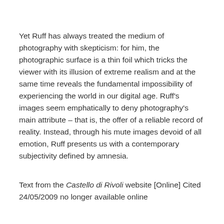Yet Ruff has always treated the medium of photography with skepticism: for him, the photographic surface is a thin foil which tricks the viewer with its illusion of extreme realism and at the same time reveals the fundamental impossibility of experiencing the world in our digital age. Ruff's images seem emphatically to deny photography's main attribute – that is, the offer of a reliable record of reality. Instead, through his mute images devoid of all emotion, Ruff presents us with a contemporary subjectivity defined by amnesia.
Text from the Castello di Rivoli website [Online] Cited 24/05/2009 no longer available online